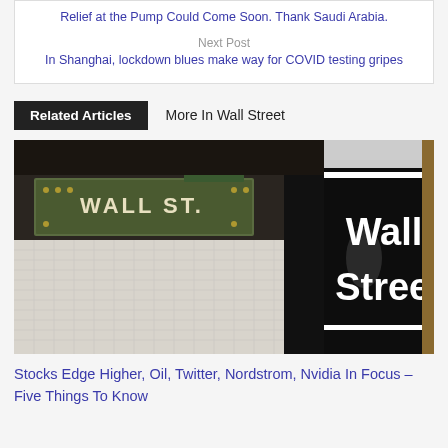Relief at the Pump Could Come Soon. Thank Saudi Arabia.
Next Post
In Shanghai, lockdown blues make way for COVID testing gripes
Related Articles    More In Wall Street
[Figure (photo): Wall Street subway station sign — black cylindrical pillar with white text reading 'Wall Street', and a mosaic sign reading 'WALL ST' on the tiled subway wall in the background.]
Stocks Edge Higher, Oil, Twitter, Nordstrom, Nvidia In Focus – Five Things To Know